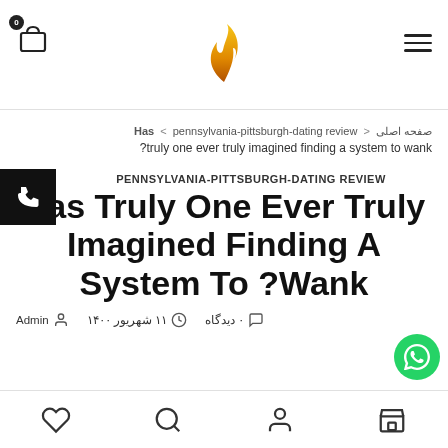Logo header with cart icon and hamburger menu
صفحه اصلی < Has < pennsylvania-pittsburgh-dating review
?truly one ever truly imagined finding a system to wank
PENNSYLVANIA-PITTSBURGH-DATING REVIEW
Has Truly One Ever Truly Imagined Finding A System To ?Wank
Admin  ۱۱ شهریور ۱۴۰۰  ۰ دیدگاه
Bottom navigation bar with heart, search, user, and store icons